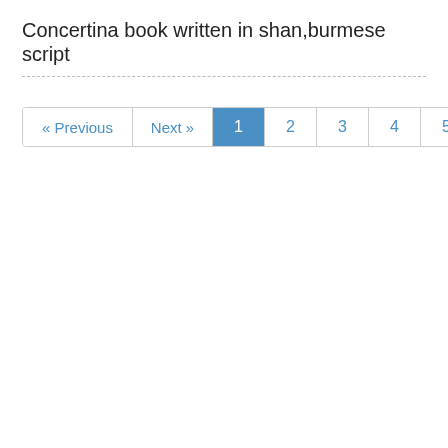Concertina book written in shan,burmese script
[Figure (other): Pagination control bar with buttons: « Previous, Next », 1 (active/highlighted), 2, 3, 4, 5, 6]